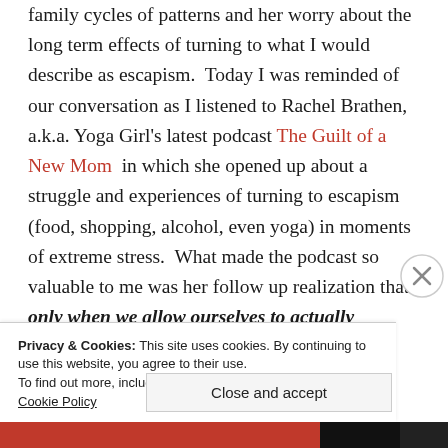family cycles of patterns and her worry about the long term effects of turning to what I would describe as escapism.  Today I was reminded of our conversation as I listened to Rachel Brathen, a.k.a. Yoga Girl's latest podcast The Guilt of a New Mom  in which she opened up about a struggle and experiences of turning to escapism (food, shopping, alcohol, even yoga) in moments of extreme stress.  What made the podcast so valuable to me was her follow up realization that only when we allow ourselves to actually experience rather than run from our pain can we heal (it's a beautiful
Privacy & Cookies: This site uses cookies. By continuing to use this website, you agree to their use.
To find out more, including how to control cookies, see here: Cookie Policy
Close and accept